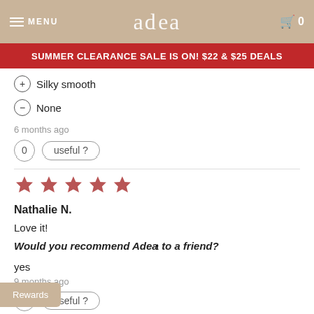MENU adea 0
SUMMER CLEARANCE SALE IS ON! $22 & $25 DEALS
+ Silky smooth
- None
6 months ago
0  useful ?
[Figure (other): 5 red/mauve star rating icons]
Nathalie N.
Love it!
Would you recommend Adea to a friend?
yes
9 months ago
0  useful ?
Rewards